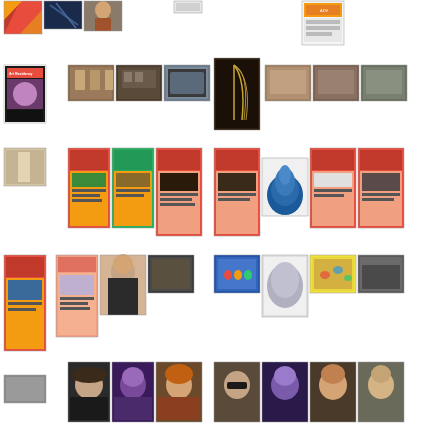[Figure (photo): Grid of thumbnail images arranged in multiple rows showing artworks, portraits, museum interiors, exhibition posters, and other art-related imagery. Row 1: colorful artwork, dark painting, portrait photo, small image, advertisement panel. Row 2: art residency magazine cover, museum interior photos, harp sculpture photo, gallery interior photos. Row 3: corridor photo, exhibition posters with Hebrew text on red/orange/green backgrounds, blue flame sculpture, more posters. Row 4: exhibition posters, portrait of woman, textured artwork, crowd scene painting, abstract blue painting, map artwork, group photo. Row 5: group photo, portraits of artists including woman in hat, man in purple light, woman with orange hair, man with sunglasses, man in purple, woman, woman.]